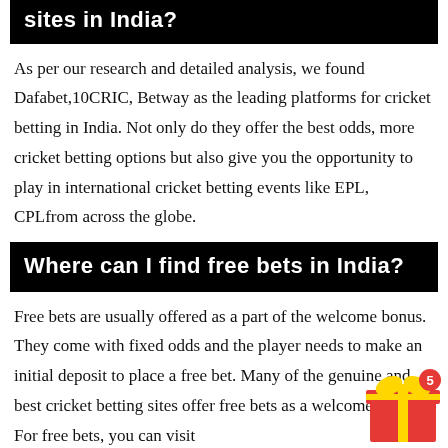sites in India?
As per our research and detailed analysis, we found Dafabet,10CRIC, Betway as the leading platforms for cricket betting in India. Not only do they offer the best odds, more cricket betting options but also give you the opportunity to play in international cricket betting events like EPL, CPLfrom across the globe.
Where can I find free bets in India?
Free bets are usually offered as a part of the welcome bonus. They come with fixed odds and the player needs to make an initial deposit to place a free bet. Many of the genuine and best cricket betting sites offer free bets as a welcome bonus. For free bets, you can visit